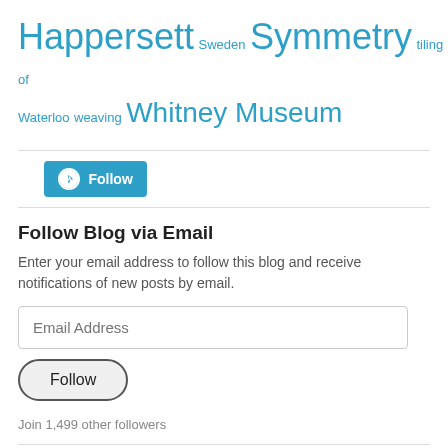Happersett Sweden Symmetry tiling Torus University of Waterloo weaving Whitney Museum
[Figure (other): WordPress Follow button (blue rounded rectangle with WordPress logo and 'Follow' text)]
Follow Blog via Email
Enter your email address to follow this blog and receive notifications of new posts by email.
Email Address (input field placeholder)
Follow (button)
Join 1,499 other followers